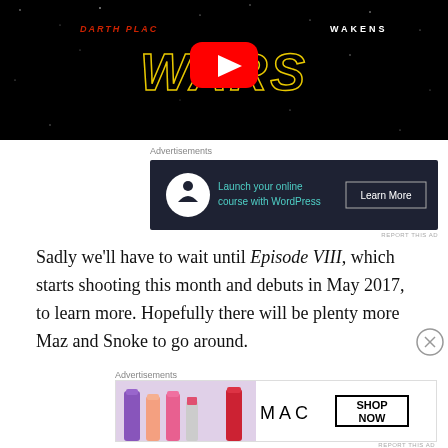[Figure (screenshot): Star Wars: The Force Awakens YouTube video thumbnail with play button overlay, showing Star Wars logo text in yellow outline on black starfield background with 'Darth Plac... Wakens' subtitle text]
Advertisements
[Figure (screenshot): Advertisement banner: dark navy background with circular white icon (person meditating), teal text 'Launch your online course with WordPress', white 'Learn More' button]
REPORT THIS AD
Sadly we'll have to wait until Episode VIII, which starts shooting this month and debuts in May 2017, to learn more. Hopefully there will be plenty more Maz and Snoke to go around.
Advertisements
[Figure (screenshot): MAC cosmetics advertisement showing colorful lipsticks on left, MAC logo in center, and SHOP NOW box on right]